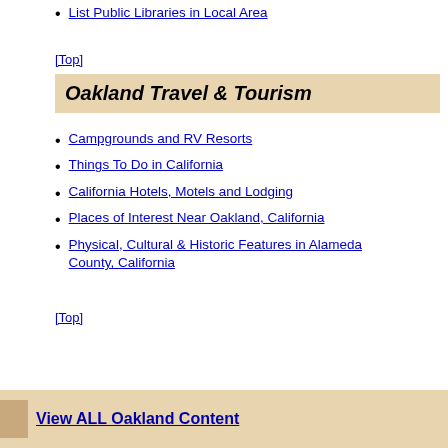List Public Libraries in Local Area
[Top]
Oakland Travel & Tourism
Campgrounds and RV Resorts
Things To Do in California
California Hotels, Motels and Lodging
Places of Interest Near Oakland, California
Physical, Cultural & Historic Features in Alameda County, California
[Top]
View ALL Oakland Content